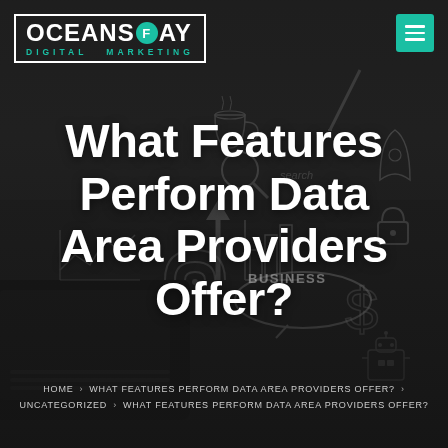[Figure (illustration): Dark overlay hero banner with hand-drawn business sketches (charts, graphs, wifi, business speech bubble, dollar sign, robot, rocket, lock, etc.) in the background. A laptop and hand holding a pen are visible.]
OCEANS F AY DIGITAL MARKETING [logo] [menu button]
What Features Perform Data Area Providers Offer?
HOME > WHAT FEATURES PERFORM DATA AREA PROVIDERS OFFER? >
UNCATEGORIZED > WHAT FEATURES PERFORM DATA AREA PROVIDERS OFFER?